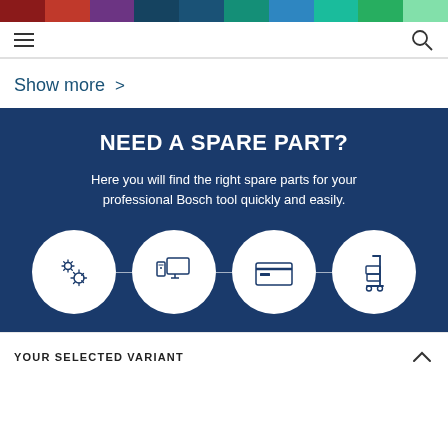[Figure (infographic): Horizontal color bar at top with segments: dark red, red, purple, dark blue, blue, teal, light blue, teal-green, green, light green]
[Figure (infographic): Navigation bar with hamburger menu icon on left and search icon on right]
Show more >
NEED A SPARE PART?
Here you will find the right spare parts for your professional Bosch tool quickly and easily.
[Figure (infographic): Four white circles connected by lines on dark blue background. Icons: gear/settings, desktop computer monitor, credit card, hand truck/dolly]
YOUR SELECTED VARIANT